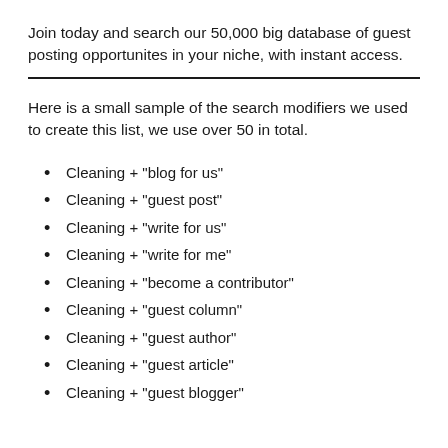Join today and search our 50,000 big database of guest posting opportunites in your niche, with instant access.
Here is a small sample of the search modifiers we used to create this list, we use over 50 in total.
Cleaning + "blog for us"
Cleaning + "guest post"
Cleaning + "write for us"
Cleaning + "write for me"
Cleaning + "become a contributor"
Cleaning + "guest column"
Cleaning + "guest author"
Cleaning + "guest article"
Cleaning + "guest blogger"